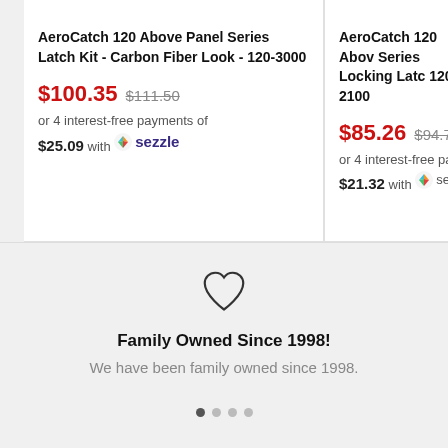AeroCatch 120 Above Panel Series Latch Kit - Carbon Fiber Look - 120-3000
$100.35  $111.50  or 4 interest-free payments of $25.09 with Sezzle
AeroCatch 120 Above Series Locking Latch 120-2100
$85.26  $94.73  or 4 interest-free payments of $21.32 with Sezzle
[Figure (illustration): Heart outline icon]
Family Owned Since 1998!
We have been family owned since 1998.